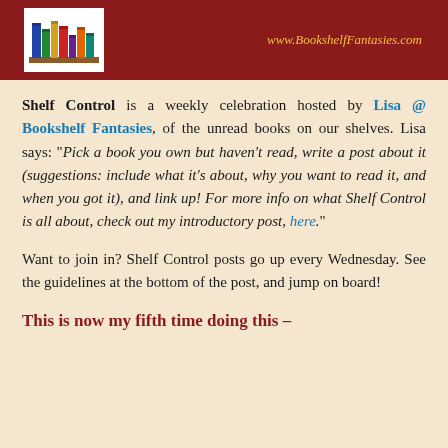[Figure (logo): Bookshelf Fantasies logo with illustrated books on a shelf, on dark red banner background with website URL www.BookshelfFantasies.com]
Shelf Control is a weekly celebration hosted by Lisa @ Bookshelf Fantasies, of the unread books on our shelves. Lisa says: “Pick a book you own but haven’t read, write a post about it (suggestions: include what it’s about, why you want to read it, and when you got it), and link up! For more info on what Shelf Control is all about, check out my introductory post, here.”
Want to join in? Shelf Control posts go up every Wednesday. See the guidelines at the bottom of the post, and jump on board!
This is now my fifth time doing this –